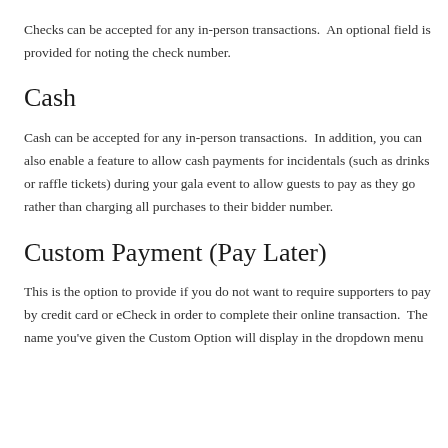Checks can be accepted for any in-person transactions.  An optional field is provided for noting the check number.
Cash
Cash can be accepted for any in-person transactions.  In addition, you can also enable a feature to allow cash payments for incidentals (such as drinks or raffle tickets) during your gala event to allow guests to pay as they go rather than charging all purchases to their bidder number.
Custom Payment (Pay Later)
This is the option to provide if you do not want to require supporters to pay by credit card or eCheck in order to complete their online transaction.  The name you've given the Custom Option will display in the dropdown menu